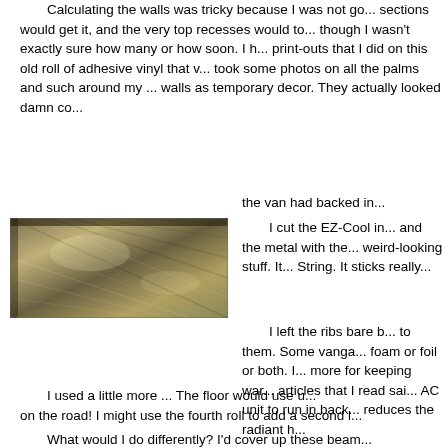Calculating the walls was tricky because I was not go... sections would get it, and the very top recesses would t... though I wasn't exactly sure how many or how soon. I h... print-outs that I did on this old roll of adhesive vinyl that v... took some photos on all the palms and such around my ... walls as temporary decor. They actually looked damn co... the van had backed in...
[Figure (photo): Close-up photo of EZ-Cool reflective insulation material showing metallic foil texture with a dark edge/frame]
I cut the EZ-Cool in... and the metal with the... weird-looking stuff. It... String. It sticks really...
I left the ribs bare b... to them. Some vanga... foam or foil or both. I... more for keeping war... articles that I read sai... AC unit to run in back... reduces the radiant h...
I used a little more ... The floor would use u... on the road! I might use the fourth roll to add a second l...
What would I do differently? I'd cover up these beam...